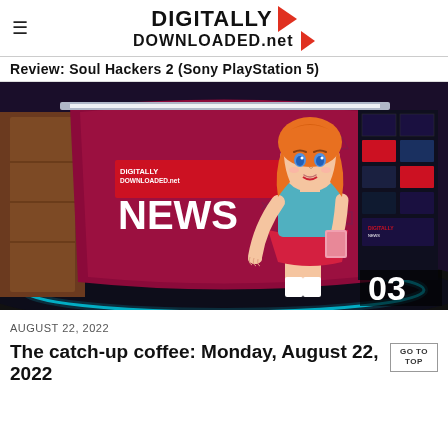≡ DIGITALLY DOWNLOADED.net
Review: Soul Hackers 2 (Sony PlayStation 5)
[Figure (illustration): Anime-style news anchor character with orange hair, wearing a teal top and red skirt, standing in front of a news studio backdrop showing 'DIGITALLY DOWNLOADED.net NEWS'. The number 03 appears in the bottom right corner.]
AUGUST 22, 2022
The catch-up coffee: Monday, August 22, 2022